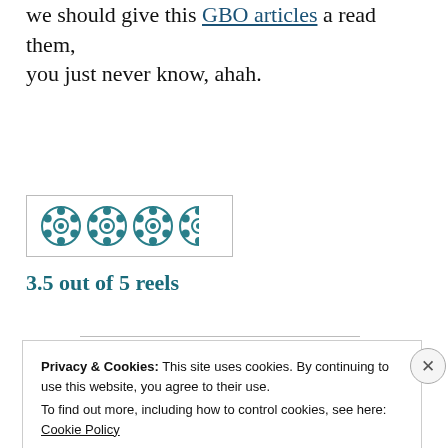we should give this GBO articles a read them, you just never know, ahah.
[Figure (illustration): Rating shown as film reel icons: 3 full reels and 1 half reel in teal color, inside a bordered box]
3.5 out of 5 reels
Privacy & Cookies: This site uses cookies. By continuing to use this website, you agree to their use.
To find out more, including how to control cookies, see here: Cookie Policy
Close and accept